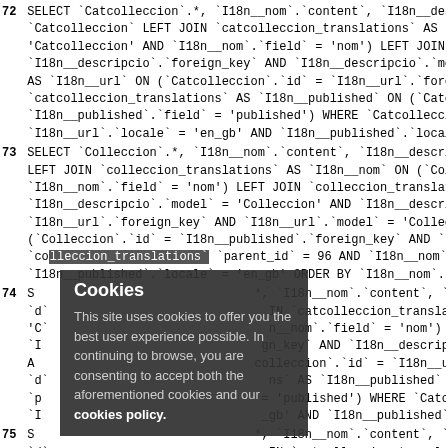72 SELECT `Catcolleccion`.*, `I18n__nom`.`content`, `I18n__descripcio`.`content`, `I18n__... `Catcolleccion` LEFT JOIN `catcolleccion_translations` AS `I18n__nom` ON (`Catcolleccion`.'id' = `I18n__nom`.`foreign_key` AND `I18n__nom`.`model` = 'Catcolleccion' AND `I18n__nom`.`field` = 'nom') LEFT JOIN `catcolleccion_translations` AS `I18n__descripcio` ON (`Catcolleccion`.`id` = `I18n__descripcio`.`foreign_key` AND `I18n__descripcio`.`model` = 'Catcolleccion' AND `I18n__descripcio`.`field` = 'descripcio') LEFT JOIN `catcolleccion_translations` AS `I18n__url` ON (`Catcolleccion`.`id` = `I18n__url`.`foreign_key` AND `I18n__url`.`model` ... `catcolleccion_translations` AS `I18n__published` ON (`Catcolleccion`.`id` = `I18n__published`.`foreign_key` AND `I18n__published`.`field` = 'published') WHERE `Catcolleccion`.`parent_id` = 96 AND `I18n__url`.`locale` = 'en_gb' AND `I18n__published`.`locale` = 'en_gb' ORDER BY `I18n__nom`...
73 SELECT `Colleccion`.*, `I18n__nom`.`content`, `I18n__descripcio`.`content`, `I18n__url`... LEFT JOIN `colleccion_translations` AS `I18n__nom` ON (`Colleccion`.`id` = `I18n__nom`.`foreign_key` AND `I18n__nom`.`field` = 'nom') LEFT JOIN `colleccion_translations` AS `I18n__descripcio` ON (`I18n__descripcio`.`model` = 'Colleccion' AND `I18n__descripcio`.`field` = 'descripcio') LEFT JOIN ... `I18n__url`.`foreign_key` AND `I18n__url`.`model` = 'Colleccion' AND `I18n__url`.`field` = ... (`Colleccion`.`id` = `I18n__published`.`foreign_key` AND `I18n__published`.`model` = 'Co... `colleccion_translations`... `parent_id` = 96 AND `I18n__nom`.`locale` = 'en_gb' AND `I18n__des`... `I18n__published`.`locale` = 'en_gb' ORDER BY `I18n__nom`.`content` ASC
74 SELECT `Catcolleccion`.*, `I18n__nom`.`content`, `I18n__descripcio`.`content`, `I18n__`... `d`... LEFT JOIN `catcolleccion_translations` AS `I18n__nom` ON (`Catcolleccion`... 'C`... `I18n__nom`.`field` = 'nom') LEFT JOIN `catcolleccion_translations`'s... `I18n__descripcio`.`foreign_key` AND `I18n__descripcio`.`model` = 'Catcolleccion' AND... AS `I18n__url` ON (`Catcolleccion`.`id` = `I18n__url`.`foreign_key` AND `I18n__url`.`mod`... `catcolleccion_translations` AS `I18n__published` ON (`Catcolleccion`.`id` = `I18n__publ`... = 'published') WHERE `Catcolleccion`.`parent_id` = 1720 AND `I18n__url`.`locale` `... `_gb' AND `I18n__published`.`locale` = 'en_gb' ORDER BY `I18n__nom`...
75 SELECT `Catcolleccion`.*, `I18n__nom`.`content`, `I18n__descripcio`.`content`, `I18n__`... `d`... LEFT JOIN `catcolleccion_translations` AS `I18n__nom` ON (`Catcolleccion`... 'C`... `I18n__nom`.`field` = 'nom') LEFT JOIN `catcolleccion_translations`... `I18n__descripcio`.`foreign_key` AND `I18n__descripcio`.`model` = 'Catcolleccion' AND... AS `I18n__url` ON (`Catcolleccion`.`id` = `I18n__url`.`foreign_key` AND `I18n__url`.`mod`... `catcolleccion_translations` AS `I18n__published` ON (`Catcolleccion`.`id` = `I18n__publ`... `I18n__published`.`field` = 'published') WHERE `Catcolleccion`.`parent_id` = 1721 AND `I18n__url`.`locale` = 'en_gb' AND `I18n__published`.`locale` = 'en_gb' ORDER BY `I18n`...
[Figure (screenshot): Cookie consent overlay popup with dark background, title 'Cookies' and text 'This site uses cookies to offer you the best user experience possible. In continuing to browse, you are consenting to accept both the aforementioned cookies and our cookies policy.']